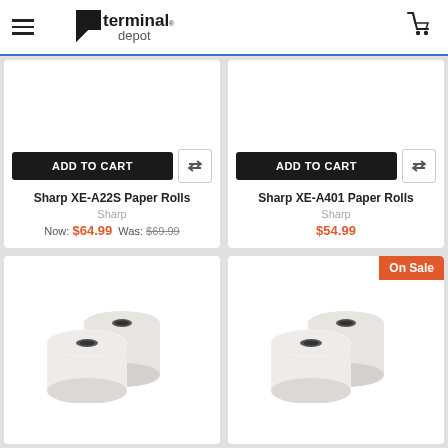terminal depot
[Figure (photo): Sharp XE-A22S Paper Rolls product image (not visible, white area)]
ADD TO CART
Sharp XE-A22S Paper Rolls
Sharp
Now: $64.99  Was: $69.99
[Figure (photo): Sharp XE-A401 Paper Rolls product image (not visible, white area)]
ADD TO CART
Sharp XE-A401 Paper Rolls
Sharp
$54.99
[Figure (photo): Two white paper rolls for thermal printer]
[Figure (photo): Two white paper rolls for thermal printer, with On Sale badge]